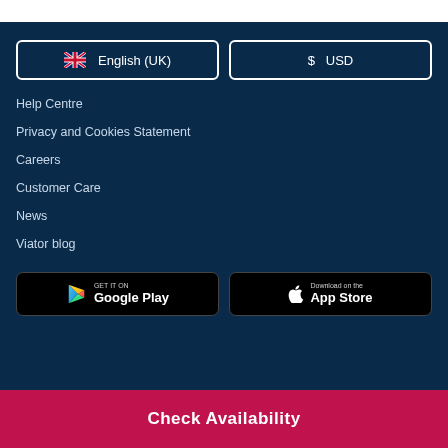English (UK)
$ USD
Help Centre
Privacy and Cookies Statement
Careers
Customer Care
News
Viator blog
[Figure (logo): Google Play store badge — GET IT ON Google Play]
[Figure (logo): Apple App Store badge — Download on the App Store]
Check Availability